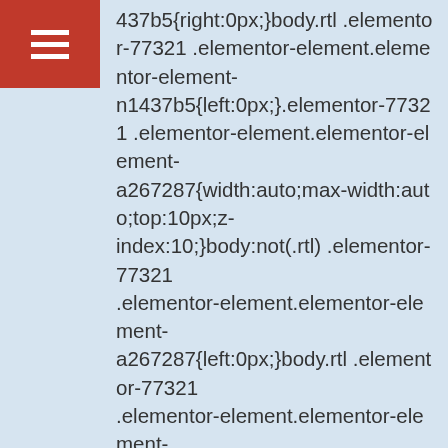[Figure (other): Red square button with white hamburger menu icon (three horizontal lines)]
437b5{right:0px;}body.rtl .elementor-77321 .elementor-element.elementor-element-n1437b5{left:0px;}.elementor-77321 .elementor-element.elementor-element-a267287{width:auto;max-width:auto;top:10px;z-index:10;}body:not(.rtl) .elementor-77321 .elementor-element.elementor-element-a267287{left:0px;}body.rtl .elementor-77321 .elementor-element.elementor-element-a267287{right:0px;}.elementor-77321 .elementor-element.elementor-element-15e8ebc{width:99px;max-width:99px;top:10px;z-index:9;}body:not(.rtl) .elementor-77321 .elementor-element.elementor-element-15e8ebc{left:0px;}body.rtl .elementor-77321 .elementor-element.elementor-element-15e8ebc{right:0px;}.elementor-77321 .elementor-element.elementor-element-15e8ebc{right:0px;}.elementor-77321 .elementor-